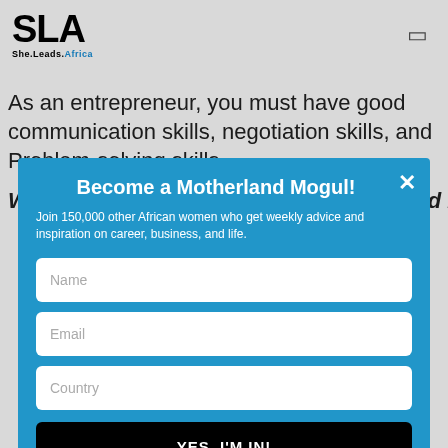[Figure (logo): SLA She.Leads.Africa logo with navigation menu icon]
As an entrepreneur, you must have good communication skills, negotiation skills, and Problem-solving skills.
What's the best advice you have received in business
Become a Motherland Mogul!
Join 150,000 other African women who get weekly advice and inspiration on career, business, and life.
Name
Email
Country
YES, I'M IN!